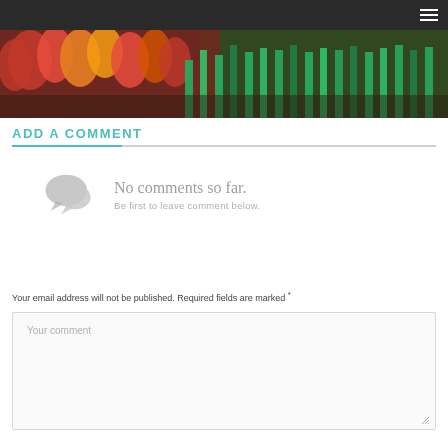Navigation bar with hamburger menu
[Figure (photo): Hero image of colorful tulips - red, yellow, orange, and green stems arranged together on a dark wooden surface]
ADD A COMMENT
No comments so far. Be first to leave comment below.
Your email address will not be published. Required fields are marked *
Your comment